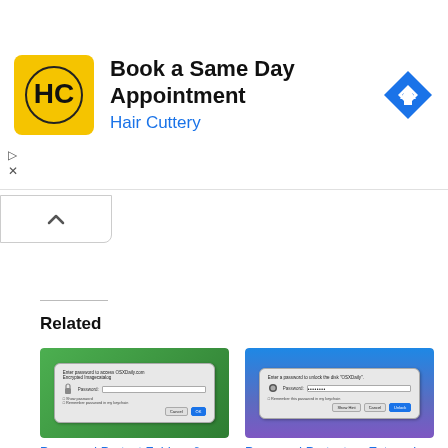[Figure (screenshot): Advertisement banner for Hair Cuttery: Book a Same Day Appointment, with yellow HC logo and blue direction arrow icon]
[Figure (screenshot): Collapse/hide button with upward chevron]
[Figure (screenshot): Thumbnail screenshot of password protect folders dialog on Mac OS X with green background]
Password Protect Folders & Files in Mac OS X with
[Figure (screenshot): Thumbnail screenshot of password protect external drive dialog on Mac OS X]
Password Protect an External Drive in Mac OS X